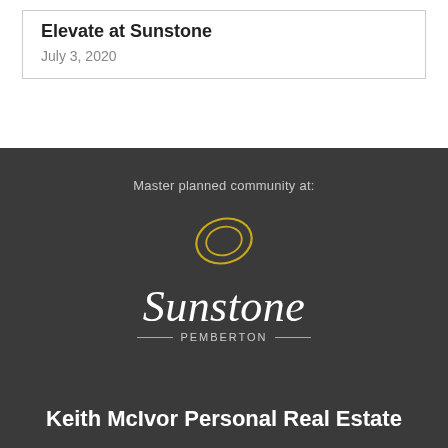Elevate at Sunstone
July 3, 2020
Master planned community at:
[Figure (logo): Sunstone Pemberton logo with golden circular ring graphic above the script word 'Sunstone' and below it '— PEMBERTON —' in spaced capitals]
Keith McIvor Personal Real Estate Corporation